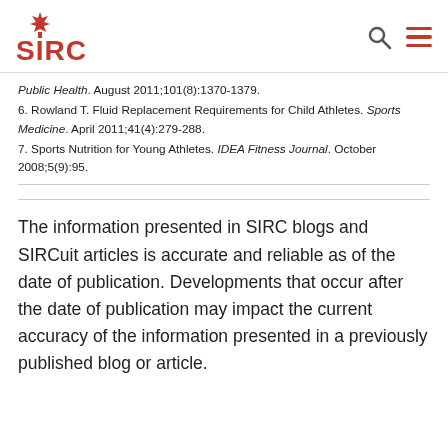SIRC
Public Health. August 2011;101(8):1370-1379.
6. Rowland T. Fluid Replacement Requirements for Child Athletes. Sports Medicine. April 2011;41(4):279-288.
7. Sports Nutrition for Young Athletes. IDEA Fitness Journal. October 2008;5(9):95.
The information presented in SIRC blogs and SIRCuit articles is accurate and reliable as of the date of publication. Developments that occur after the date of publication may impact the current accuracy of the information presented in a previously published blog or article.